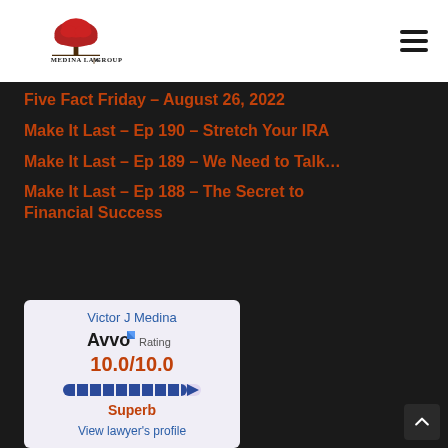Medina Law Group
Five Fact Friday – August 26, 2022
Make It Last – Ep 190 – Stretch Your IRA
Make It Last – Ep 189 – We Need to Talk…
Make It Last – Ep 188 – The Secret to Financial Success
[Figure (infographic): Avvo Rating widget showing Victor J Medina with a 10.0/10.0 Superb rating and a link to view lawyer's profile]